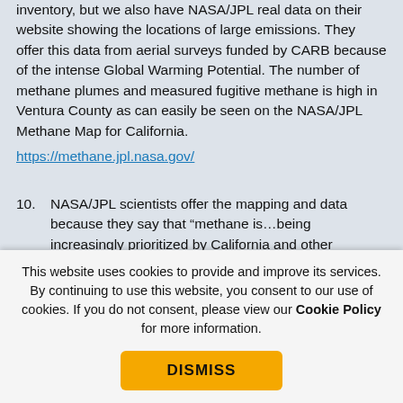inventory, but we also have NASA/JPL real data on their website showing the locations of large emissions. They offer this data from aerial surveys funded by CARB because of the intense Global Warming Potential. The number of methane plumes and measured fugitive methane is high in Ventura County as can easily be seen on the NASA/JPL Methane Map for California.
https://methane.jpl.nasa.gov/
10. NASA/JPL scientists offer the mapping and data because they say that “methane is…being increasingly prioritized by California and other governments for near-term climate action given its relatively short atmospheric lifetime and the potential for rapid, focused mitigation that can complement economy-wide efforts to reduce carbon
This website uses cookies to provide and improve its services. By continuing to use this website, you consent to our use of cookies. If you do not consent, please view our Cookie Policy for more information.
DISMISS